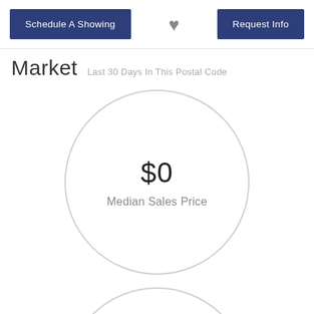Schedule A Showing | [heart icon] | Request Info
Market  Last 30 Days In This Postal Code
[Figure (infographic): Large circle with '$0' value and 'Median Sales Price' label inside]
[Figure (infographic): Partial circle (cropped at bottom of page), second market metric]